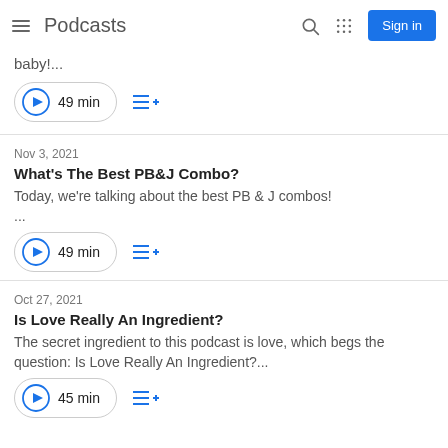Podcasts   Sign in
baby!...
▶ 49 min
Nov 3, 2021
What's The Best PB&J Combo?
Today, we're talking about the best PB & J combos!
...
▶ 49 min
Oct 27, 2021
Is Love Really An Ingredient?
The secret ingredient to this podcast is love, which begs the question: Is Love Really An Ingredient?...
▶ 45 min